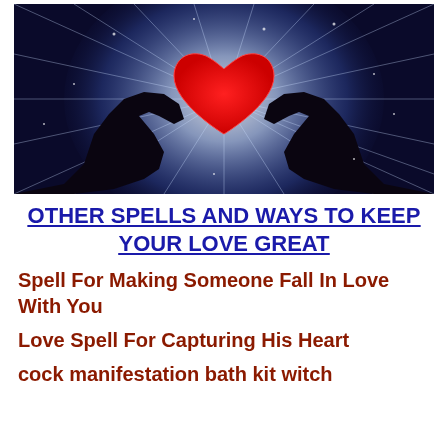[Figure (photo): Two silhouetted hands forming a heart shape around a glowing red heart, with bright radiating light beams in the background creating a starburst effect in blue and white tones.]
OTHER SPELLS AND WAYS TO KEEP YOUR LOVE GREAT
Spell For Making Someone Fall In Love With You
Love Spell For Capturing His Heart
cock manifestation bath kit witch